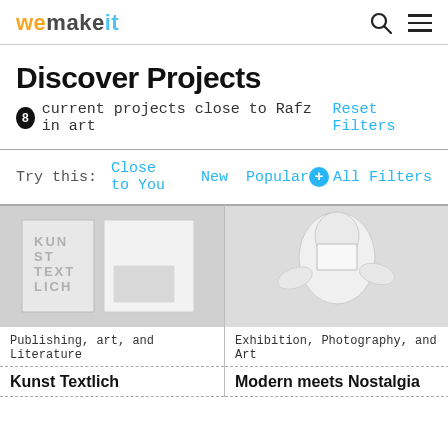wemakeit
Discover Projects
8 current projects close to Rafz in art  Reset Filters
Try this:  Close to You  New  Popular  + All Filters
[Figure (photo): Book cover and page spread for 'Kunst Textlich' art publication on light grey background]
Publishing, art, and Literature
Kunst Textlich
[Figure (photo): White ceramic or plaster animal sculpture with hands placing a card on it, grey background]
Exhibition, Photography, and Art
Modern meets Nostalgia